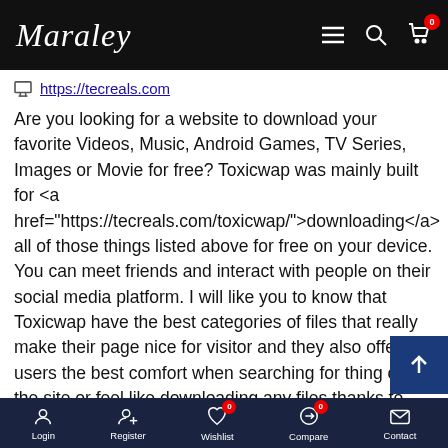[Figure (screenshot): Maraley website top navigation bar with logo, hamburger menu, search icon, and cart icon with badge showing 0]
https://tecreals.com
Are you looking for a website to download your favorite Videos, Music, Android Games, TV Series, Images or Movie for free? Toxicwap was mainly built for <a href="https://tecreals.com/toxicwap/">downloading</a> all of those things listed above for free on your device. You can meet friends and interact with people on their social media platform. I will like you to know that Toxicwap have the best categories of files that really make their page nice for visitor and they also offer users the best comfort when searching for thing on the site or feel like downloading any files thanks fo this blog it has been very useful to me am
[Figure (screenshot): Bottom navigation bar with Login, Register, Wishlist (badge 0), Compare (badge 0), Contact icons]